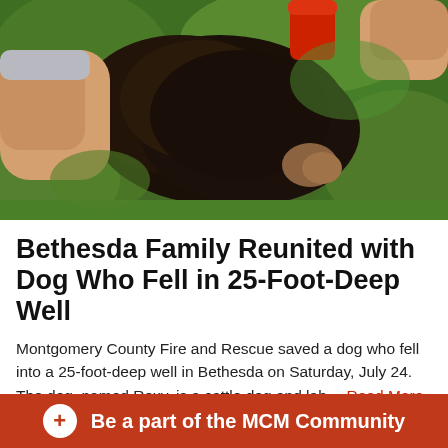[Figure (photo): Overhead view of a large dark brown/black dog lying on green grass, with two people's legs/hands visible on either side of the dog.]
Bethesda Family Reunited with Dog Who Fell in 25-Foot-Deep Well
Montgomery County Fire and Rescue saved a dog who fell into a 25-foot-deep well in Bethesda on Saturday, July 24. The dog, named Roxy, is a cattle dog and lab… Read More
Police/Crime/Fire | July 26, 2021 | Deirdre Byrne
Be a part of the MCM Community